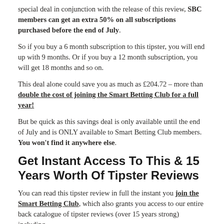special deal in conjunction with the release of this review, SBC members can get an extra 50% on all subscriptions purchased before the end of July.
So if you buy a 6 month subscription to this tipster, you will end up with 9 months. Or if you buy a 12 month subscription, you will get 18 months and so on.
This deal alone could save you as much as £204.72 – more than double the cost of joining the Smart Betting Club for a full year!
But be quick as this savings deal is only available until the end of July and is ONLY available to Smart Betting Club members. You won't find it anywhere else.
Get Instant Access To This & 15 Years Worth Of Tipster Reviews
You can read this tipster review in full the instant you join the Smart Betting Club, which also grants you access to our entire back catalogue of tipster reviews (over 15 years strong) including